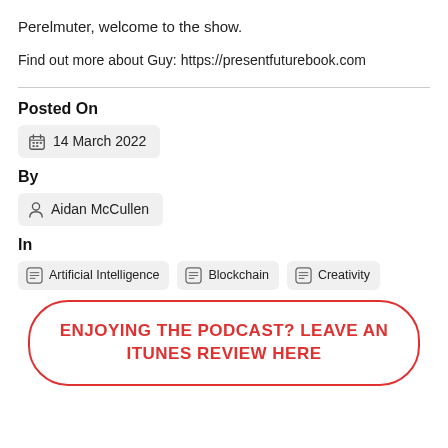Perelmuter, welcome to the show.
Find out more about Guy: https://presentfuturebook.com
Posted On
14 March 2022
By
Aidan McCullen
In
Artificial Intelligence   Blockchain   Creativity
ENJOYING THE PODCAST? LEAVE AN ITUNES REVIEW HERE